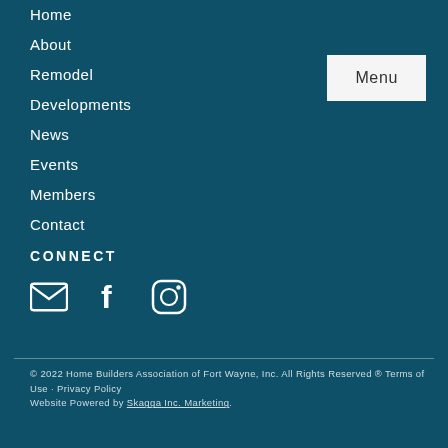Home
About
Remodel
Developments
News
Events
Members
Contact
CONNECT
[Figure (illustration): Three social media icons: email envelope, Facebook f, and Instagram camera, displayed in white on teal background]
© 2022 Home Builders Association of Fort Wayne, Inc. All Rights Reserved ® Terms of Use · Privacy Policy
Website Powered by Skagga Inc. Marketing.